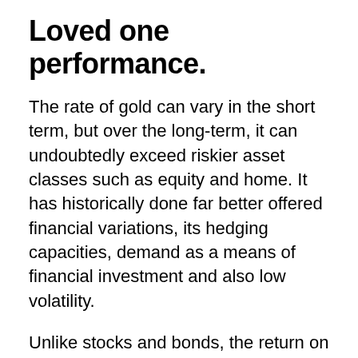Loved one performance.
The rate of gold can vary in the short term, but over the long-term, it can undoubtedly exceed riskier asset classes such as equity and home. It has historically done far better offered financial variations, its hedging capacities, demand as a means of financial investment and also low volatility.
Unlike stocks and bonds, the return on gold is completely based upon rate gratitude.
Nonetheless, buying gold lugs one-of-a-kind expenses. Because it is a physical possession, it needs storage as well as insurance. These factors need to be taken into account for gold to carry out well in a